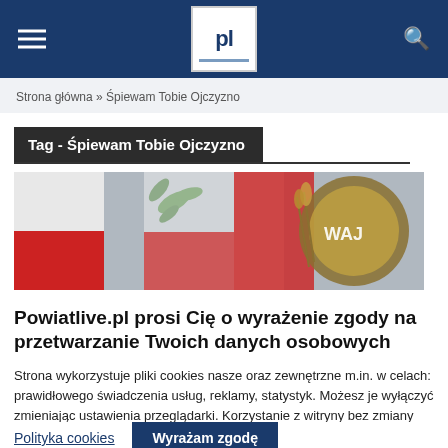Powiatlive.pl — header navigation with logo, hamburger menu, search icon
Strona główna » Śpiewam Tobie Ojczyzno
Tag - Śpiewam Tobie Ojczyzno
[Figure (photo): Close-up photograph of Polish flags and an embroidered badge/emblem with letters 'WAJ' visible]
Powiatlive.pl prosi Cię o wyrażenie zgody na przetwarzanie Twoich danych osobowych
Strona wykorzystuje pliki cookies nasze oraz zewnętrzne m.in. w celach: prawidłowego świadczenia usług, reklamy, statystyk. Możesz je wyłączyć zmieniając ustawienia przeglądarki. Korzystanie z witryny bez zmiany ustawień Twojej przeglądarki oznacza, że zgadzasz się na umieszczenie ich w Twoim urządzeniu końcowym.
Polityka cookies | Wyrażam zgodę